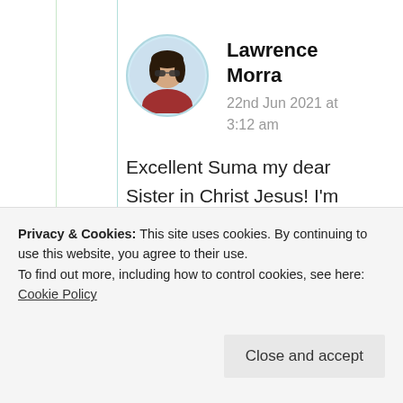[Figure (photo): Circular avatar photo of Lawrence Morra, showing a person with dark hair and sunglasses, wearing a red jacket, with a light blue circular border]
Lawrence Morra
22nd Jun 2021 at 3:12 am
Excellent Suma my dear Sister in Christ Jesus! I'm happy to hear that these stories and experiences
little things in God's
Privacy & Cookies: This site uses cookies. By continuing to use this website, you agree to their use.
To find out more, including how to control cookies, see here: Cookie Policy
Close and accept